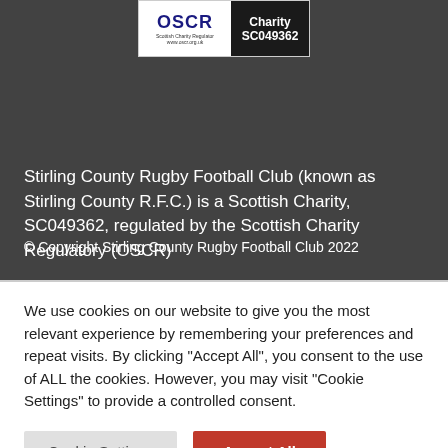[Figure (logo): OSCR Scottish Charity Regulator logo with Charity SC049362 badge]
Stirling County Rugby Football Club (known as Stirling County R.F.C.) is a Scottish Charity, SC049362, regulated by the Scottish Charity Regulatory (OSCR)
© Copyright Stirling County Rugby Football Club 2022
We use cookies on our website to give you the most relevant experience by remembering your preferences and repeat visits. By clicking "Accept All", you consent to the use of ALL the cookies. However, you may visit "Cookie Settings" to provide a controlled consent.
Cookie Settings
Accept All